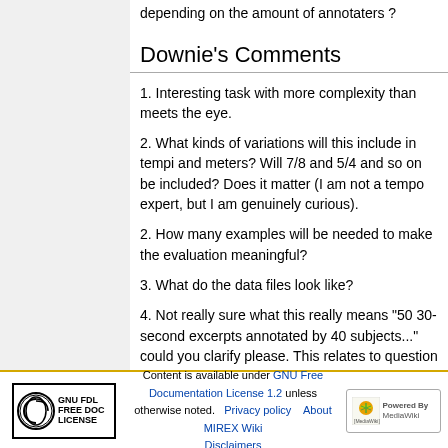depending on the amount of annotaters ?
Downie's Comments
1. Interesting task with more complexity than meets the eye.
2. What kinds of variations will this include in tempi and meters? Will 7/8 and 5/4 and so on be included? Does it matter (I am not a tempo expert, but I am genuinely curious).
2. How many examples will be needed to make the evaluation meaningful?
3. What do the data files look like?
4. Not really sure what this really means "50 30-second excerpts annotated by 40 subjects..." could you clarify please. This relates to question #3.
Content is available under GNU Free Documentation License 1.2 unless otherwise noted. Privacy policy About MIREX Wiki Disclaimers